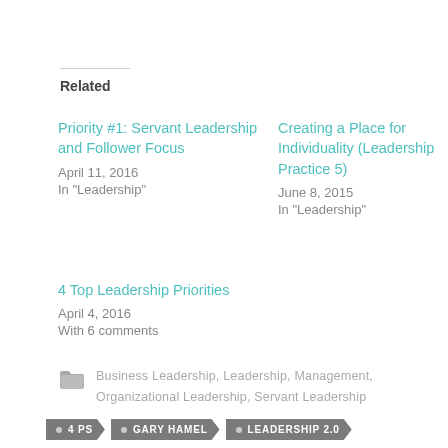Related
Priority #1: Servant Leadership and Follower Focus
April 11, 2016
In "Leadership"
Creating a Place for Individuality (Leadership Practice 5)
June 8, 2015
In "Leadership"
4 Top Leadership Priorities
April 4, 2016
With 6 comments
Business Leadership, Leadership, Management, Organizational Leadership, Servant Leadership
• 4 PS   • GARY HAMEL   • LEADERSHIP 2.0